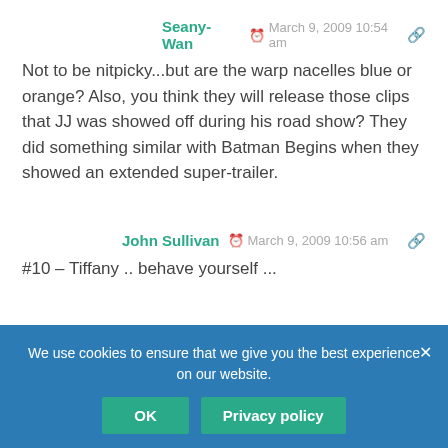Seany-Wan  March 9, 2009 10:54 am
Not to be nitpicky...but are the warp nacelles blue or orange? Also, you think they will release those clips that JJ was showed off during his road show? They did something similar with Batman Begins when they showed an extended super-trailer.
John Sullivan  March 9, 2009 10:56 am
#10 – Tiffany .. behave yourself ...
thorsten  March 9, 2009 10:57 am
You can download the Quicktime movies and then use an app called Han... e ...em to AVI
We use cookies to ensure that we give you the best experience on our website.